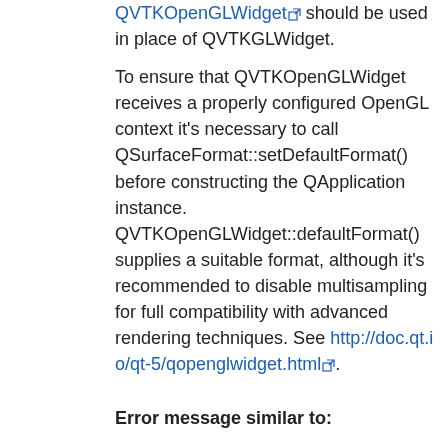QVTKOpenGLWidget should be used in place of QVTKGLWidget.
To ensure that QVTKOpenGLWidget receives a properly configured OpenGL context it's necessary to call QSurfaceFormat::setDefaultFormat() before constructing the QApplication instance. QVTKOpenGLWidget::defaultFormat() supplies a suitable format, although it's recommended to disable multisampling for full compatibility with advanced rendering techniques. See http://doc.qt.io/qt-5/qopenglwidget.html.
Error message similar to: